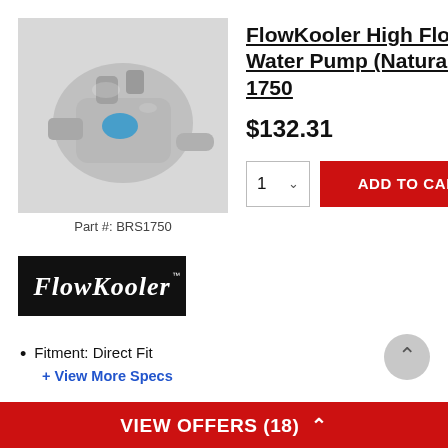[Figure (photo): FlowKooler High Flow Water Pump product photo — silver/natural finish water pump with blue label]
Part #: BRS1750
FlowKooler High Flow Water Pump (Natural) - 1750
$132.31
[Figure (logo): FlowKooler brand logo — white script text on black background]
Fitment: Direct Fit
+ View More Specs
VIEW OFFERS (18) ^